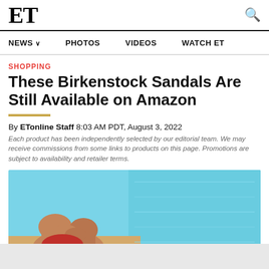ET
NEWS  PHOTOS  VIDEOS  WATCH ET
SHOPPING
These Birkenstock Sandals Are Still Available on Amazon
By ETonline Staff 8:03 AM PDT, August 3, 2022
Each product has been independently selected by our editorial team. We may receive commissions from some links to products on this page. Promotions are subject to availability and retailer terms.
[Figure (photo): Person sitting by a pool wearing red swimwear and Birkenstock sandals, viewed from the side showing legs and folded hands, with a bright blue pool in the background]